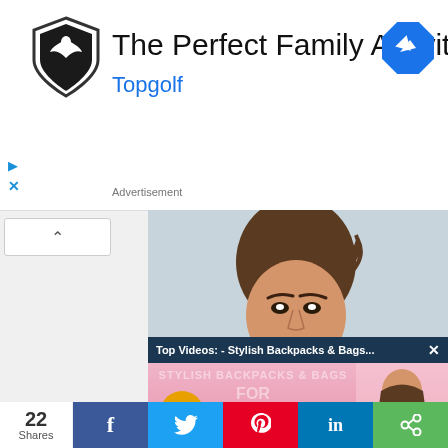[Figure (screenshot): Advertisement banner for Topgolf showing logo and headline 'The Perfect Family Activity' with navigation icon]
The Perfect Family Activity
Topgolf
[Figure (photo): Photo of smiling young woman with brown hair pulled back, wearing striped outfit, bright background]
[Figure (screenshot): Video overlay popup: 'Top Videos: - Stylish Backpacks & Bags...' with X close button, showing pink background with 'Stylish Backpacks & Bags For Back-To-School' text and school girl image, mute button, The Tote Bag logo]
Truck Accident Attorney - Truck Accident Attorn...
Truck Accident Attorney...
22
Shares